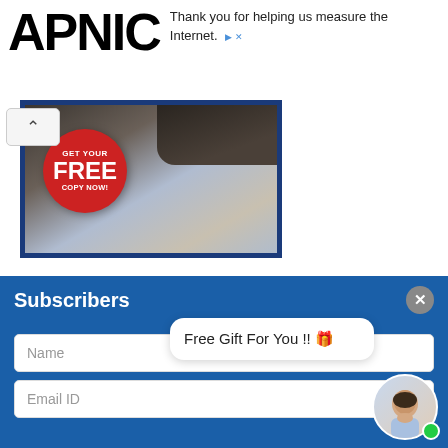APNIC
Thank you for helping us measure the Internet.
[Figure (photo): Promotional banner with a red badge saying 'GET YOUR FREE COPY NOW!' over a dark blue background]
Subscribers
Free Gift For You !! 🎁
Name
Email ID